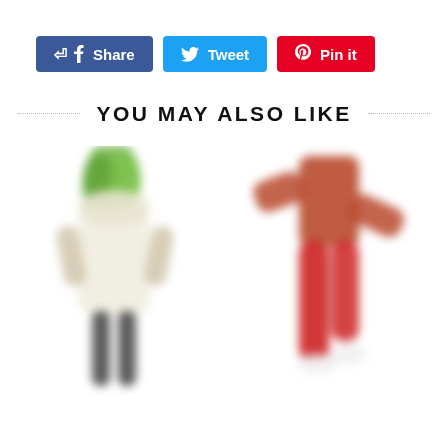[Figure (other): Three social media sharing buttons: Facebook Share (blue), Tweet (light blue), Pin it (red/Pinterest)]
YOU MAY ALSO LIKE
[Figure (photo): Two blurred product costume images side by side: left is a person in a leek/vegetable costume (white body, green top), right is a person in a red Gingerbread Man or bacon strip-style costume]